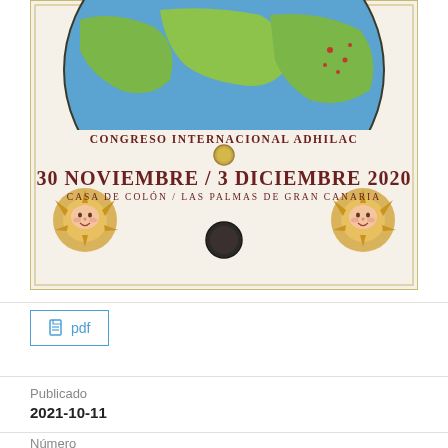[Figure (illustration): Conference poster for Congreso Internacional ADHILAC, 30 Noviembre / 3 Diciembre 2020, Casa de Colón / Las Palmas de Gran Canaria. Features an antique-style world map at the top with decorative wind-blowing cherub faces at the corners, a small circular emblem, and a dark circular ornament at the bottom center.]
pdf
Publicado
2021-10-11
Número